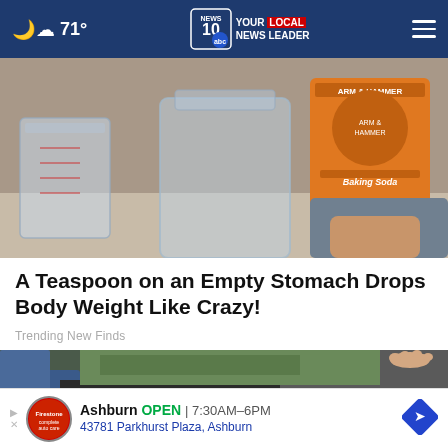71° NEWS 10 abc YOUR LOCAL NEWS LEADER
[Figure (photo): Photo of a glass mason jar and measuring cup on a counter next to an orange box of Arm & Hammer Baking Soda being held by a person's hand]
A Teaspoon on an Empty Stomach Drops Body Weight Like Crazy!
Trending New Finds
[Figure (photo): Photo showing what appears to be a damaged or burned car surface with dark debris, outdoor scene]
Ashburn OPEN | 7:30AM-6PM 43781 Parkhurst Plaza, Ashburn